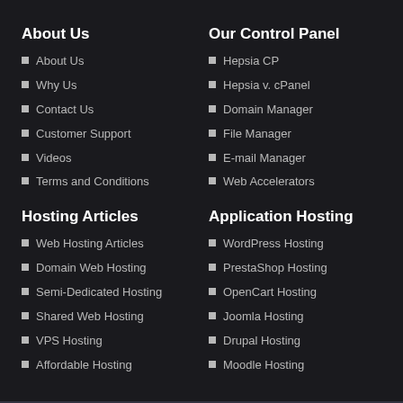About Us
About Us
Why Us
Contact Us
Customer Support
Videos
Terms and Conditions
Our Control Panel
Hepsia CP
Hepsia v. cPanel
Domain Manager
File Manager
E-mail Manager
Web Accelerators
Hosting Articles
Web Hosting Articles
Domain Web Hosting
Semi-Dedicated Hosting
Shared Web Hosting
VPS Hosting
Affordable Hosting
Application Hosting
WordPress Hosting
PrestaShop Hosting
OpenCart Hosting
Joomla Hosting
Drupal Hosting
Moodle Hosting